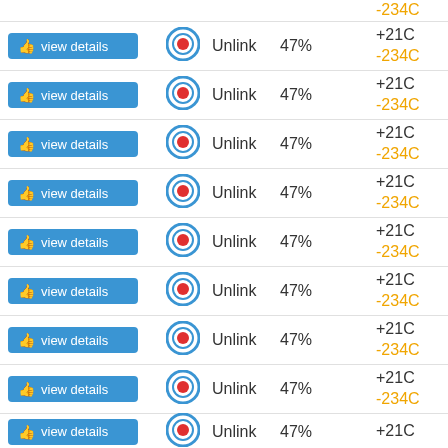| Action | Status | Link | Percent | Temperature |
| --- | --- | --- | --- | --- |
| -234C (partial top) |  |  |  |  |
| view details | target | Unlink | 47% | +21C / -234C |
| view details | target | Unlink | 47% | +21C / -234C |
| view details | target | Unlink | 47% | +21C / -234C |
| view details | target | Unlink | 47% | +21C / -234C |
| view details | target | Unlink | 47% | +21C / -234C |
| view details | target | Unlink | 47% | +21C / -234C |
| view details | target | Unlink | 47% | +21C / -234C |
| view details | target | Unlink | 47% | +21C / -234C |
| view details | target | Unlink | 47% | +21C (partial bottom) |